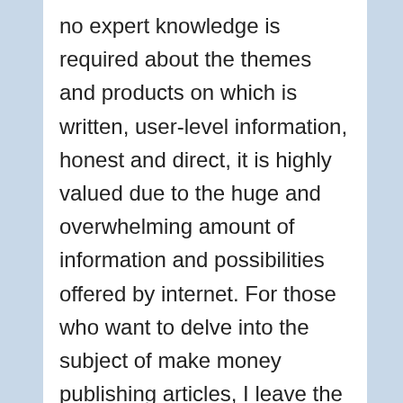no expert knowledge is required about the themes and products on which is written, user-level information, honest and direct, it is highly valued due to the huge and overwhelming amount of information and possibilities offered by internet. For those who want to delve into the subject of make money publishing articles, I leave the links in three excellent tools. The first teaches simple and direct keys to appear at the top of the search engines. The second and third are analyzers contents of easy to use which serve to verify that items are within the parameters ideal for keeping them on the first page of